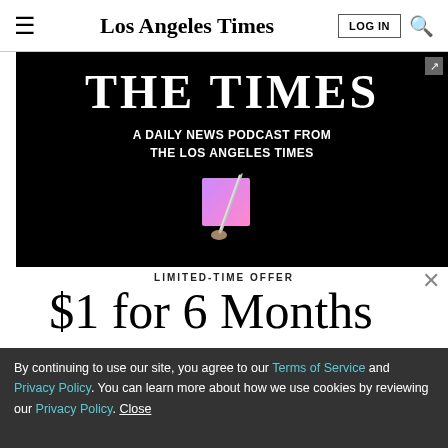Los Angeles Times
[Figure (screenshot): Advertisement banner for 'The Times: A Daily News Podcast from the Los Angeles Times' on black background with purple/pink square graphic and pencil]
LIMITED-TIME OFFER
$1 for 6 Months
SUBSCRIBE NOW
By continuing to use our site, you agree to our Terms of Service and Privacy Policy. You can learn more about how we use cookies by reviewing our Privacy Policy. Close